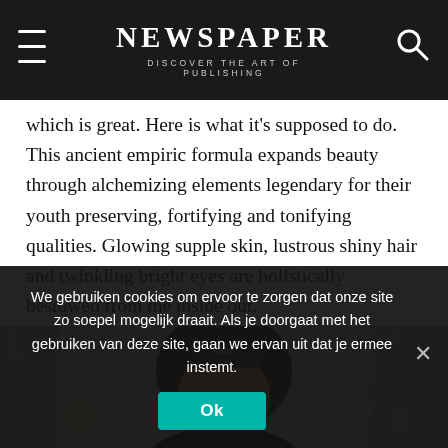NEWSPAPER
DISCOVER THE ART OF PUBLISHING
which is great. Here is what it's supposed to do. This ancient empiric formula expands beauty through alchemizing elements legendary for their youth preserving, fortifying and tonifying qualities. Glowing supple skin, lustrous shiny hair and twinkling bright eyes are holistically bestowed from the inside out.
[Figure (photo): Woman with sunglasses on her head, standing in front of city buildings, looking at the camera]
We gebruiken cookies om ervoor te zorgen dat onze site zo soepel mogelijk draait. Als je doorgaat met het gebruiken van deze site, gaan we ervan uit dat je ermee instemt.
Ok